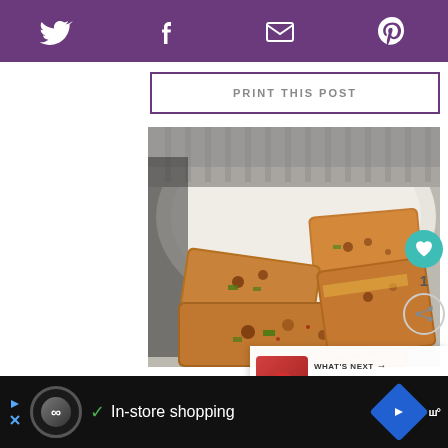Social share bar with Twitter, Facebook, Email, Pinterest icons
[Figure (photo): Grilled/toasted sandwich pieces with filling, served on a white plate, close-up food photography]
[Figure (photo): WHAT'S NEXT panel showing Strawberry Chocolate... recipe thumbnail]
Ad bar: In-store shopping advertisement